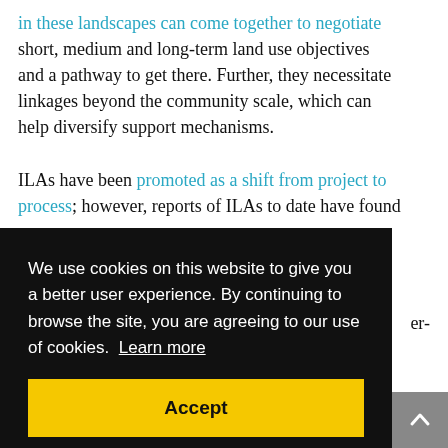in these landscapes can come together to negotiate short, medium and long-term land use objectives and a pathway to get there. Further, they necessitate linkages beyond the community scale, which can help diversify support mechanisms.
ILAs have been promoted as a shift from project to process; however, reports of ILAs to date have found
We use cookies on this website to give you a better user experience. By continuing to browse the site, you are agreeing to our use of cookies. Learn more
Accept